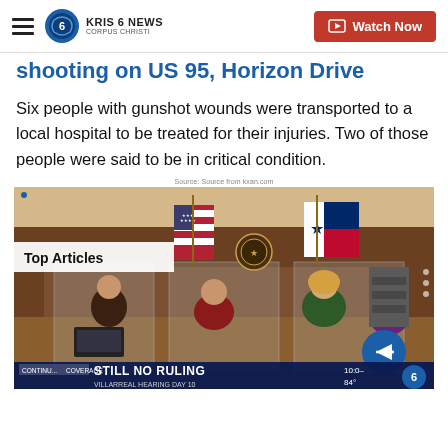KRIS 6 NEWS CORPUS CHRISTI — Watch Now
shooting on US 95, Horizon Drive
Six people with gunshot wounds were transported to a local hospital to be treated for their injuries. Two of those people were said to be in critical condition.
Source: Source from kxan.com
[Figure (photo): Courtroom scene with people seated behind plexiglass barriers, American flag and Texas flag visible in background. Lower-third shows 'STILL NO RULING' and 'VILLARREAL HEARING DAY 10' news chyron with weather 84°F and channel 6 logo.]
Top Articles